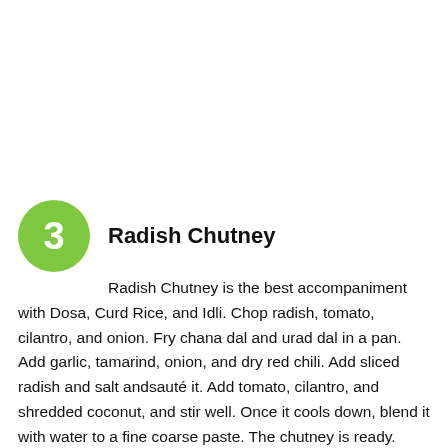3 Radish Chutney — Radish Chutney is the best accompaniment with Dosa, Curd Rice, and Idli. Chop radish, tomato, cilantro, and onion. Fry chana dal and urad dal in a pan. Add garlic, tamarind, onion, and dry red chili. Add sliced radish and salt andsauté it. Add tomato, cilantro, and shredded coconut, and stir well. Once it cools down, blend it with water to a fine coarse paste. The chutney is ready.